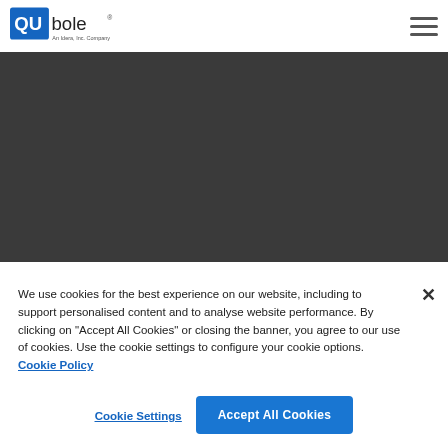[Figure (logo): Qubole logo - blue square with 'QU' text and 'bole' text in dark, subtitle 'An Idera, Inc. Company']
[Figure (other): Dark grey/charcoal banner area filling upper portion of page below header]
We use cookies for the best experience on our website, including to support personalised content and to analyse website performance. By clicking on "Accept All Cookies" or closing the banner, you agree to our use of cookies. Use the cookie settings to configure your cookie options. Cookie Policy
Cookie Settings
Accept All Cookies